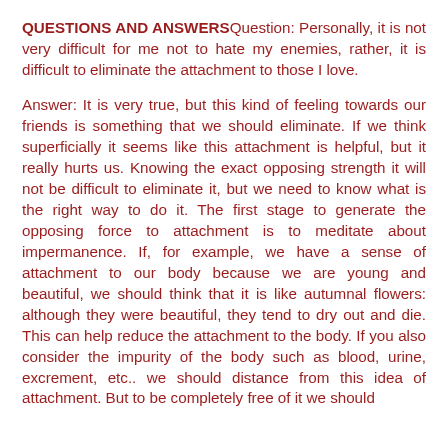QUESTIONS AND ANSWERS
Question: Personally, it is not very difficult for me not to hate my enemies, rather, it is difficult to eliminate the attachment to those I love.
Answer: It is very true, but this kind of feeling towards our friends is something that we should eliminate. If we think superficially it seems like this attachment is helpful, but it really hurts us. Knowing the exact opposing strength it will not be difficult to eliminate it, but we need to know what is the right way to do it. The first stage to generate the opposing force to attachment is to meditate about impermanence. If, for example, we have a sense of attachment to our body because we are young and beautiful, we should think that it is like autumnal flowers: although they were beautiful, they tend to dry out and die. This can help reduce the attachment to the body. If you also consider the impurity of the body such as blood, urine, excrement, etc.. we should distance from this idea of attachment. But to be completely free of it we should